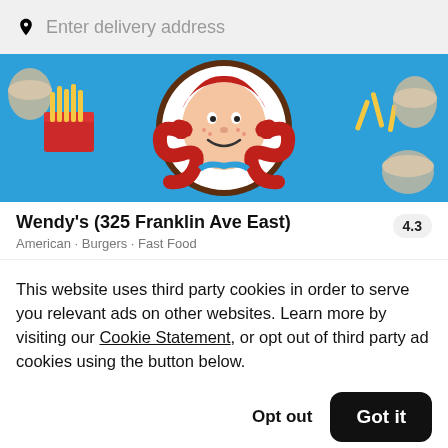Enter delivery address
[Figure (photo): Wendy's restaurant promotional banner image showing the Wendy's mascot logo with red hair and pigtails on a blue background, surrounded by french fries and Frosty cups]
Wendy's (325 Franklin Ave East)
4.3
American · Burgers · Fast Food
This website uses third party cookies in order to serve you relevant ads on other websites. Learn more by visiting our Cookie Statement, or opt out of third party ad cookies using the button below.
Opt out
Got it